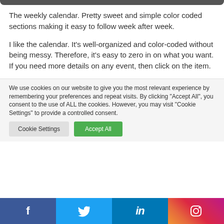[Figure (screenshot): Top dark rounded bar from a calendar UI screenshot cropped at top]
The weekly calendar. Pretty sweet and simple color coded sections making it easy to follow week after week.
I like the calendar. It’s well-organized and color-coded without being messy. Therefore, it’s easy to zero in on what you want. If you need more details on any event, then click on the item.
We use cookies on our website to give you the most relevant experience by remembering your preferences and repeat visits. By clicking “Accept All”, you consent to the use of ALL the cookies. However, you may visit "Cookie Settings" to provide a controlled consent.
[Figure (screenshot): Cookie consent banner with Cookie Settings and Accept All buttons and social media bar at bottom with Facebook, Twitter, LinkedIn, Instagram icons]